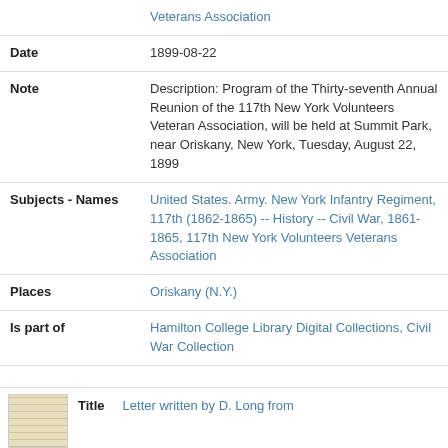| Field | Value |
| --- | --- |
|  | Veterans Association |
| Date | 1899-08-22 |
| Note | Description: Program of the Thirty-seventh Annual Reunion of the 117th New York Volunteers Veteran Association, will be held at Summit Park, near Oriskany, New York, Tuesday, August 22, 1899 |
| Subjects - Names | United States. Army. New York Infantry Regiment, 117th (1862-1865) -- History -- Civil War, 1861-1865, 117th New York Volunteers Veterans Association |
| Places | Oriskany (N.Y.) |
| Is part of | Hamilton College Library Digital Collections, Civil War Collection |
[Figure (photo): Small thumbnail image of a handwritten letter, yellowed paper]
Title   Letter written by D. Long from